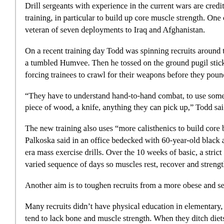Drill sergeants with experience in the current wars are credited with training, in particular to build up core muscle strength. One of the veteran of seven deployments to Iraq and Afghanistan.
On a recent training day Todd was spinning recruits around to give a tumbled Humvee. Then he tossed on the ground pugil sticks forcing trainees to crawl for their weapons before they pounded
“They have to understand hand-to-hand combat, to use something piece of wood, a knife, anything they can pick up,” Todd said.
The new training also uses “more calisthenics to build core body Palkoska said in an office bedecked with 60-year-old black and era mass exercise drills. Over the 10 weeks of basic, a strict schedule varied sequence of days so muscles rest, recover and strengthen
Another aim is to toughen recruits from a more obese and seden
Many recruits didn’t have physical education in elementary, middle tend to lack bone and muscle strength. When they ditch diets re for healthier meals and physical training, they drop excess weigh